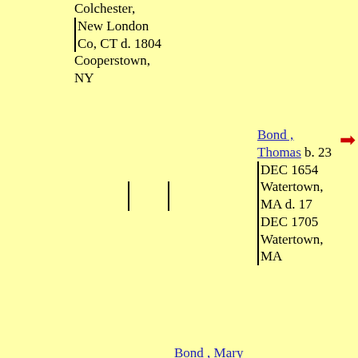Colchester, New London Co, CT d. 1804 Cooperstown, NY
Bond , Thomas b. 23 DEC 1654 Watertown, MA d. 17 DEC 1705 Watertown, MA
Bond , Mary b. ABT. 7 DEC 1690 Watertown, MA d. 9 JUL 1775 Colchester, CT
Woolson , Sarah b. 1661 d. Watertown,